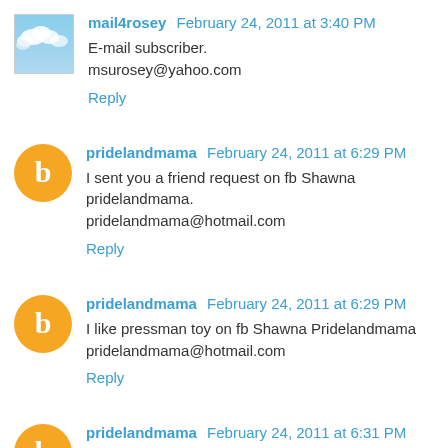mail4rosey  February 24, 2011 at 3:40 PM
E-mail subscriber.
msurosey@yahoo.com
Reply
pridelandmama  February 24, 2011 at 6:29 PM
I sent you a friend request on fb Shawna pridelandmama. pridelandmama@hotmail.com
Reply
pridelandmama  February 24, 2011 at 6:29 PM
I like pressman toy on fb Shawna Pridelandmama pridelandmama@hotmail.com
Reply
pridelandmama  February 24, 2011 at 6:31 PM